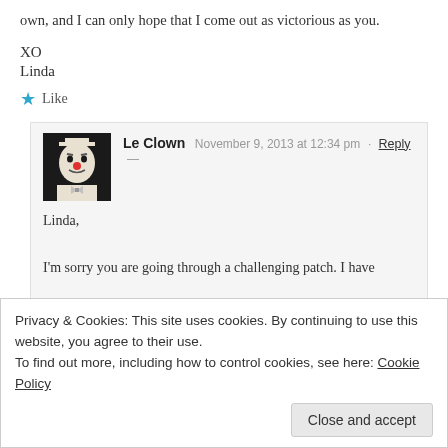own, and I can only hope that I come out as victorious as you.
XO
Linda
★ Like
Le Clown  November 9, 2013 at 12:34 pm  ·  Reply  —
Linda,
I'm sorry you are going through a challenging patch. I have a friend of mine who wrote a lovely post on The Outlier Collective, on legalizing marijuana. I also hear pot can be beneficial in moments of stress...
Le Clown
Privacy & Cookies: This site uses cookies. By continuing to use this website, you agree to their use.
To find out more, including how to control cookies, see here: Cookie Policy
Close and accept